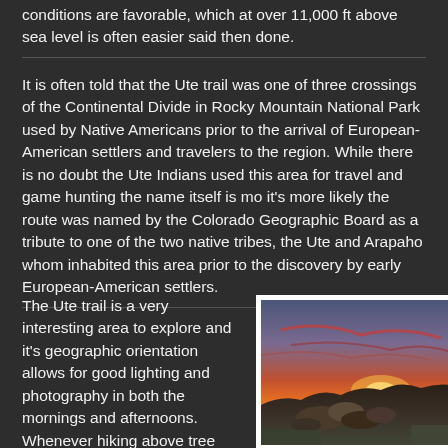conditions are favorable, which at over 11,000 ft above sea level is often easier said then done.
It is often told that the Ute trail was one of three crossings of the Continental Divide in Rocky Mountain National Park used by Native Americans prior to the arrival of European-American settlers and travelers to the region. While there is no doubt the Ute Indians used this area for travel and game hunting the name itself is mo it's more likely the route was named by the Colorado Geographic Board as a tribute to one of the two native tribes, the Ute and Arapaho whom inhabited this area prior to the discovery by early European-American settlers.
The Ute trail is a very interesting area to explore and it's geographic orientation allows for good lighting and photography in both the mornings and afternoons. Whenever hiking above tree line in Rocky, one should be mindful of the
[Figure (photo): Sunset view from above tree line in Rocky Mountain National Park, showing rocky terrain in foreground with dramatic red and orange sky at sunset]
Another view from above tree line in Rocky Mountain National